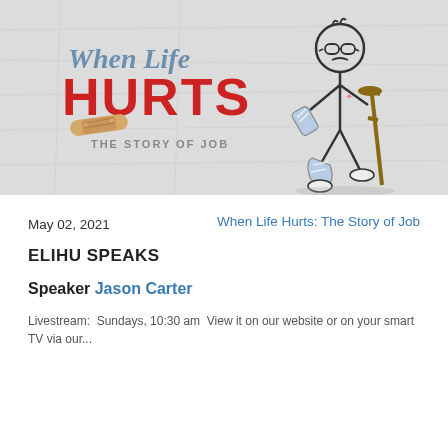[Figure (illustration): Promotional image for 'When Life Hurts: The Story of Job' series. On a crinkled paper background, the left side shows text: 'When Life' in slate blue, 'HURTS' in bold red, with a bandage graphic, and 'THE STORY OF JOB' below in grey. On the right is a stick-figure illustration wearing glasses, with a cast on one arm and a broken leg, leaning on a crutch.]
May 02, 2021
When Life Hurts: The Story of Job
ELIHU SPEAKS
Speaker Jason Carter
Livestream:  Sundays, 10:30 am  View it on our website or on your smart TV via our...